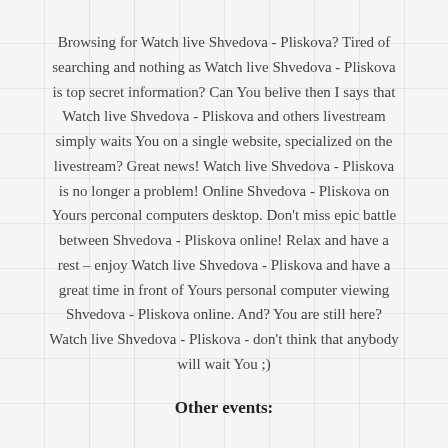Browsing for Watch live Shvedova - Pliskova? Tired of searching and nothing as Watch live Shvedova - Pliskova is top secret information? Can You belive then I says that Watch live Shvedova - Pliskova and others livestream simply waits You on a single website, specialized on the livestream? Great news! Watch live Shvedova - Pliskova is no longer a problem! Online Shvedova - Pliskova on Yours perconal computers desktop. Don't miss epic battle between Shvedova - Pliskova online! Relax and have a rest – enjoy Watch live Shvedova - Pliskova and have a great time in front of Yours personal computer viewing Shvedova - Pliskova online. And? You are still here? Watch live Shvedova - Pliskova - don't think that anybody will wait You ;)
Other events: